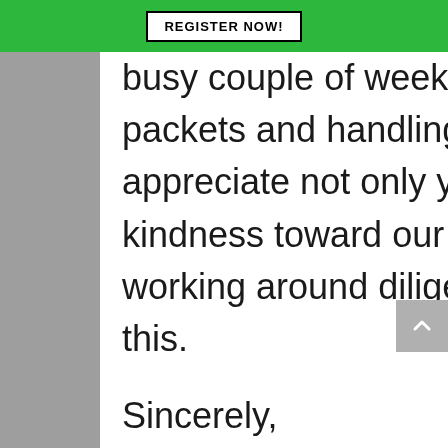REGISTER NOW!
busy couple of weeks preparing these virtual packets and handling the deferrals and transfers. I appreciate not only your patience, but your kindness toward our support staff that will be working around diligently to help us manage all of this.
Sincerely,